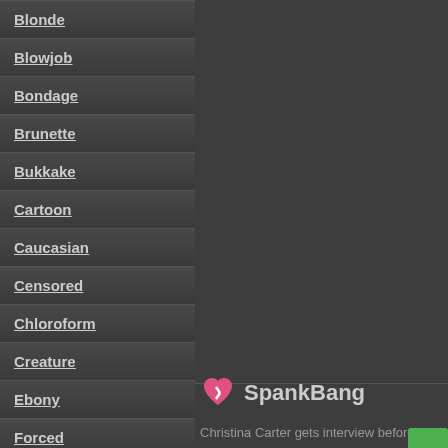Blonde
Blowjob
Bondage
Brunette
Bukkake
Cartoon
Caucasian
Censored
Chloroform
Creature
Ebony
Forced
Gang Bang
Group
HD
Hentai
[Figure (logo): SpankBang logo with pink broken heart icon and bold text]
Christina Carter gets interview before she submi